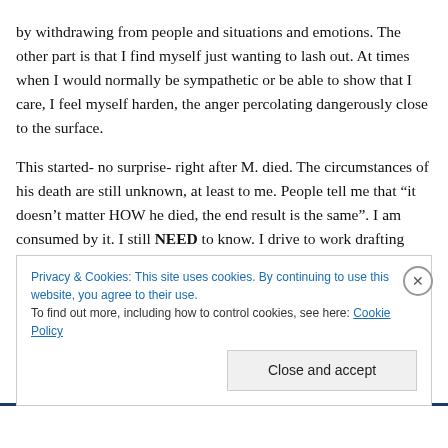by withdrawing from people and situations and emotions. The other part is that I find myself just wanting to lash out. At times when I would normally be sympathetic or be able to show that I care, I feel myself harden, the anger percolating dangerously close to the surface.
This started- no surprise- right after M. died. The circumstances of his death are still unknown, at least to me. People tell me that “it doesn’t matter HOW he died, the end result is the same”. I am consumed by it. I still NEED to know. I drive to work drafting emails in my head
Privacy & Cookies: This site uses cookies. By continuing to use this website, you agree to their use.
To find out more, including how to control cookies, see here: Cookie Policy